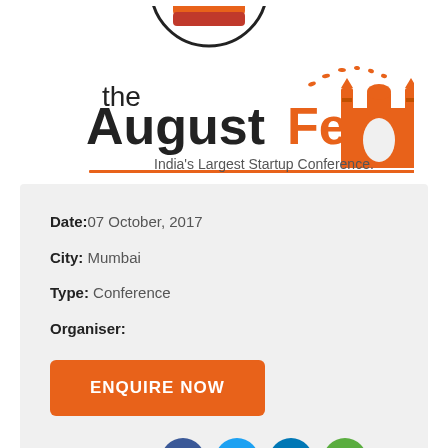[Figure (logo): The August Fest logo — India's Largest Startup Conference, with a cartoon fist at top, orange gate monument silhouette and birds, black and orange text]
Date: 07 October, 2017
City: Mumbai
Type: Conference
Organiser:
ENQUIRE NOW
Share this event